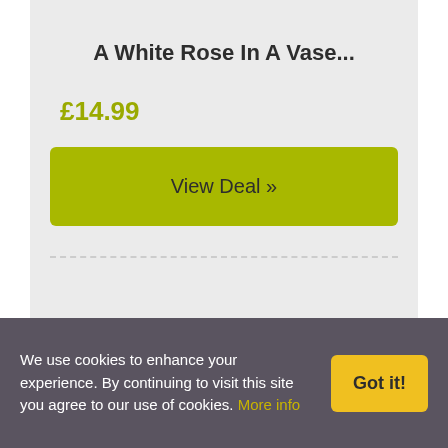A White Rose In A Vase...
£14.99
View Deal »
We use cookies to enhance your experience. By continuing to visit this site you agree to our use of cookies. More info
Got it!